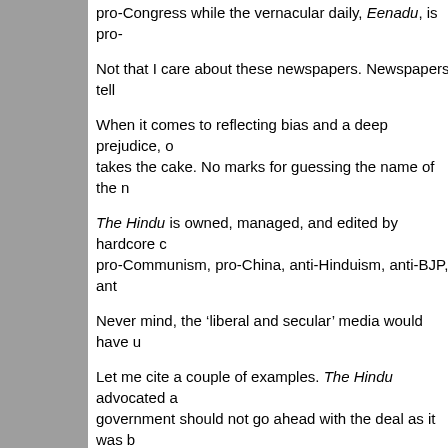pro-Congress while the vernacular daily, Eenadu, is pro-
Not that I care about these newspapers. Newspapers tell
When it comes to reflecting bias and a deep prejudice, o takes the cake. No marks for guessing the name of the n
The Hindu is owned, managed, and edited by hardcore c pro-Communism, pro-China, anti-Hinduism, anti-BJP, ant
Never mind, the ‘liberal and secular’ media would have u
Let me cite a couple of examples. The Hindu advocated a government should not go ahead with the deal as it was b that the deal impinged on our national sovereignty.
However, The Hindu maintained (and still maintains) an e China agreed to all terms dictated by the U.S. To propel i whatever be the conditions.
So what about India? Well, The Hindu preaches that India such resources from untrustworthy nations like Iran. Chin communist!